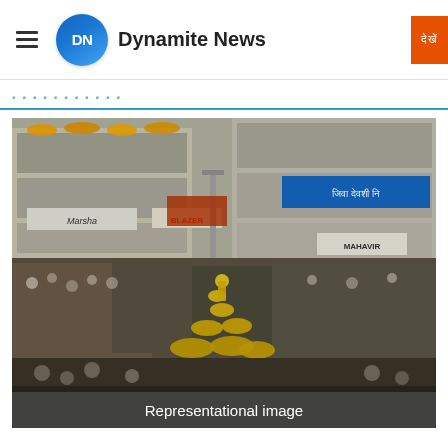Dynamite News
Representational image
[Figure (photo): A large crowd gathered in a street during Dahi Handi festival, with people in yellow uniforms forming a human pyramid. Buildings with banners and spectators watching from balconies visible in the background. Signs read MAHAVIR and Jiva Devshi Ni in Devanagari script.]
Representational image